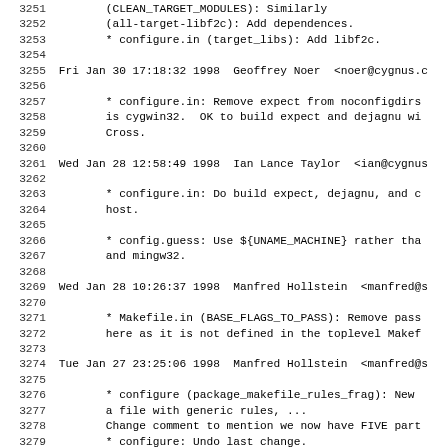3251  (CLEAN_TARGET_MODULES): Similarly
3252  (all-target-libf2c): Add dependences.
3253  * configure.in (target_libs): Add libf2c.
3254
3255 Fri Jan 30 17:18:32 1998  Geoffrey Noer  <noer@cygnus.c
3256
3257  * configure.in: Remove expect from noconfigdirs
3258  is cygwin32.  OK to build expect and dejagnu wi
3259  Cross.
3260
3261 Wed Jan 28 12:58:49 1998  Ian Lance Taylor  <ian@cygnus
3262
3263  * configure.in: Do build expect, dejagnu, and c
3264  host.
3265
3266  * config.guess: Use ${UNAME_MACHINE} rather tha
3267  and mingw32.
3268
3269 Wed Jan 28 10:26:37 1998  Manfred Hollstein  <manfred@s
3270
3271  * Makefile.in (BASE_FLAGS_TO_PASS): Remove pass
3272  here as it is not defined in the toplevel Makef
3273
3274 Tue Jan 27 23:25:06 1998  Manfred Hollstein  <manfred@s
3275
3276  * configure (package_makefile_rules_frag): New
3277  a file with generic rules, ...
3278  Change comment to mention we now have FIVE part
3279  * configure: Undo last change.
3280
3281 Tue Jan 27 23:15:55 1998  Lassi A. Tuura  <lat@iki.fi>
3282